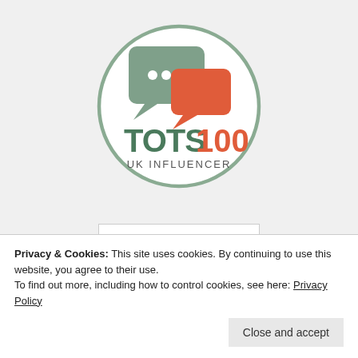[Figure (logo): Tots100 UK Influencer badge: a circular logo with a sage-green border, two overlapping speech bubbles (sage-green and orange-red), and the text TOTS100 in dark green and orange, with UK INFLUENCER below in small caps.]
[Figure (screenshot): Partially visible image in a white card/frame showing a grey background with italic handwritten-style text 'the' and a URL 'www.britlums.com' at the bottom.]
Privacy & Cookies: This site uses cookies. By continuing to use this website, you agree to their use.
To find out more, including how to control cookies, see here: Privacy Policy
Close and accept